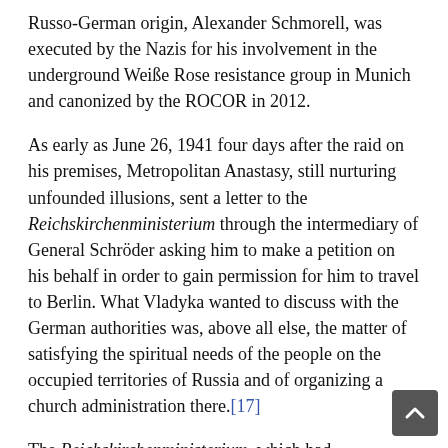Russo-German origin, Alexander Schmorell, was executed by the Nazis for his involvement in the underground Weiße Rose resistance group in Munich and canonized by the ROCOR in 2012.
As early as June 26, 1941 four days after the raid on his premises, Metropolitan Anastasy, still nurturing unfounded illusions, sent a letter to the Reichskirchenministerium through the intermediary of General Schröder asking him to make a petition on his behalf in order to gain permission for him to travel to Berlin. What Vladyka wanted to discuss with the German authorities was, above all else, the matter of satisfying the spiritual needs of the people on the occupied territories of Russia and of organizing a church administration there.[17]
The Reichskirchenministerium, which had traditionally maintained a positive stance toward the ROCOR and, moreover, saw the letter as an impetus to set about dealing with church affairs in the East immediately.